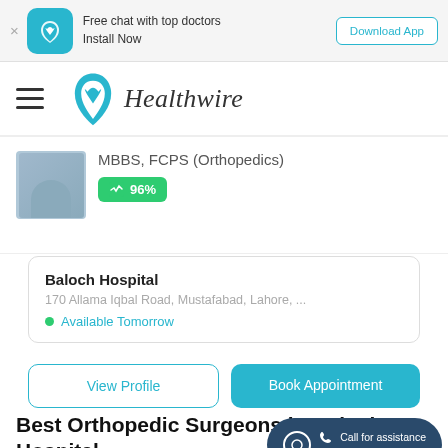[Figure (screenshot): Top app install banner with Healthwire icon, 'Free chat with top doctors Install Now' text, and Download App button]
[Figure (logo): Healthwire logo with teal heart/shield icon and italic Healthwire text]
MBBS, FCPS (Orthopedics)
96%
Baloch Hospital
170 Allama Iqbal Road, Mustafabad, Lahore, ...
Available Tomorrow
View Profile
Book Appointment
Best Orthopedic Surgeons in Baloch Hospital
Baloch Hospital offers versatile services and treatment of
Call for assistance
042 32500989